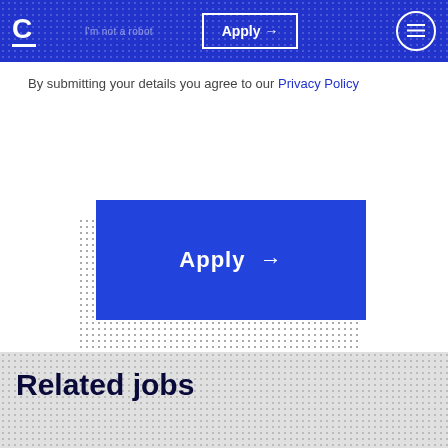Apply →
By submitting your details you agree to our Privacy Policy
[Figure (other): Blue Apply → button with dotted shadow background]
Related jobs